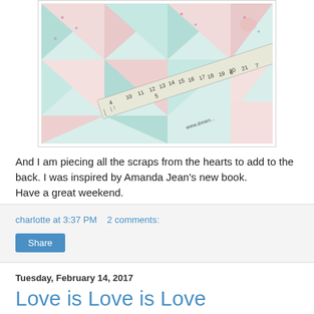[Figure (photo): Close-up photo of colorful quilt fabric pieces (mint, pink, white with small floral prints) arranged in triangular/heart shapes, with a ruler visible diagonally showing measurements up to 21cm, website www.dream... partially visible on ruler]
And I am piecing all the scraps from the hearts to add to the back. I was inspired by Amanda Jean's new book. Have a great weekend.
charlotte at 3:37 PM    2 comments:
Share
Tuesday, February 14, 2017
Love is Love is Love